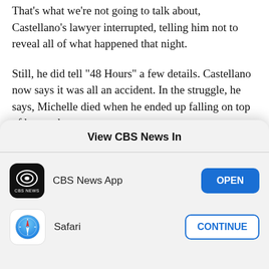That's what we're not going to talk about, Castellano's lawyer interrupted, telling him not to reveal all of what happened that night.
Still, he did tell "48 Hours" a few details. Castellano now says it was all an accident. In the struggle, he says, Michelle died when he ended up falling on top of her neck.
"Michelle's death was my fault because ... I'm the one
[Figure (screenshot): iOS app selection modal with title 'View CBS News In', showing CBS News App with OPEN button and Safari with CONTINUE button]
View CBS News In
CBS News App — OPEN
Safari — CONTINUE